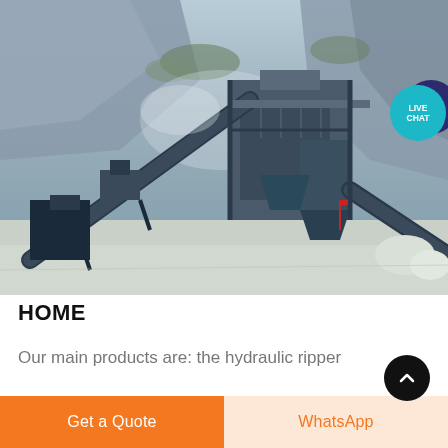[Figure (photo): Quarry crushing and screening plant machinery with conveyor belts, hoppers, and processing equipment against a rocky hillside background with dust in the air. A 'LIVE CHAT' teal circular badge is visible in the upper right of the image.]
HOME
Our main products are: the hydraulic ripper
Get a Quote
WhatsApp